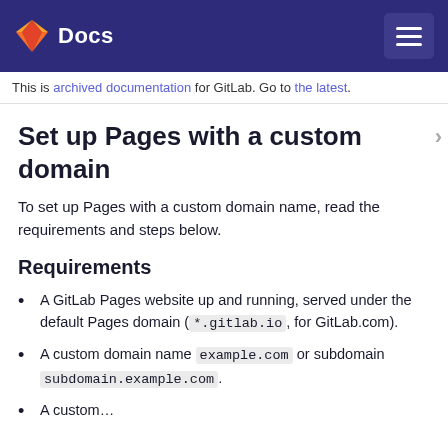Docs
This is archived documentation for GitLab. Go to the latest.
Set up Pages with a custom domain
To set up Pages with a custom domain name, read the requirements and steps below.
Requirements
A GitLab Pages website up and running, served under the default Pages domain (*.gitlab.io, for GitLab.com).
A custom domain name example.com or subdomain subdomain.example.com.
A custom...